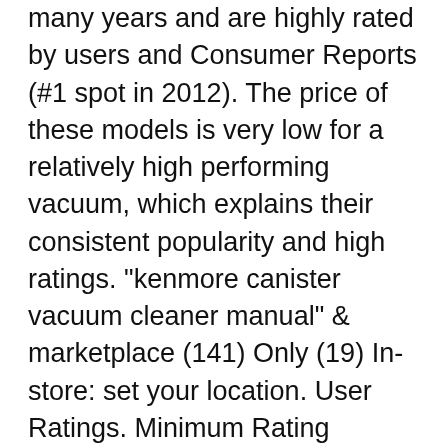many years and are highly rated by users and Consumer Reports (#1 spot in 2012). The price of these models is very low for a relatively high performing vacuum, which explains their consistent popularity and high ratings. "kenmore canister vacuum cleaner manual" & marketplace (141) Only (19) In-store: set your location. User Ratings. Minimum Rating Minimum Rating Minimum Rating Minimum Rating Home Care DVC 10 Bags for Kenmore Progressive Canister Vacuum Cleaner 5055 C EF1 CF1 Filter :New by WW shop.
Manual de Uso y Cuidado Kenmore B® Vacuum Cleaner Aspiradora Vacuum